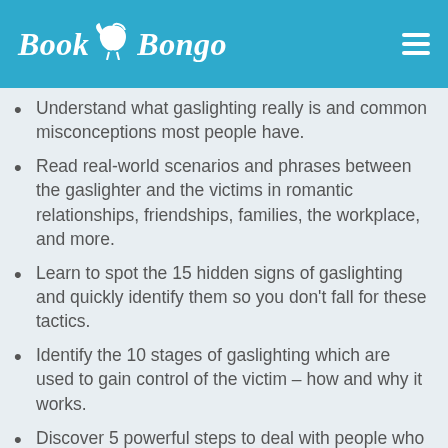Book Bongo
Understand what gaslighting really is and common misconceptions most people have.
Read real-world scenarios and phrases between the gaslighter and the victims in romantic relationships, friendships, families, the workplace, and more.
Learn to spot the 15 hidden signs of gaslighting and quickly identify them so you don't fall for these tactics.
Identify the 10 stages of gaslighting which are used to gain control of the victim – how and why it works.
Discover 5 powerful steps to deal with people who gaslight. (Most people get this wrong!)
Understand simple yet effective strategies to